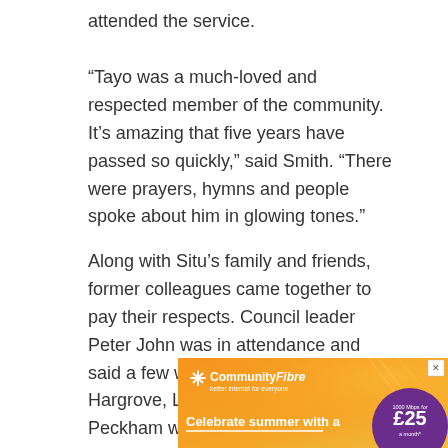attended the service.
“Tayo was a much-loved and respected member of the community. It’s amazing that five years have passed so quickly,” said Smith. “There were prayers, hymns and people spoke about him in glowing tones.”
Along with Situ’s family and friends, former colleagues came together to pay their respects. Council leader Peter John was in attendance and said a few words, as did Barrie Hargrove, Labour councillor for Peckham ward.
[Figure (illustration): Community Fibre advertisement with orange gradient background, white snowflake-style logo, text 'CommunityFibre better internet for everyone', 'Celebrate summer with a', and a purple circle showing '1000 Mbps for £25 a month*']